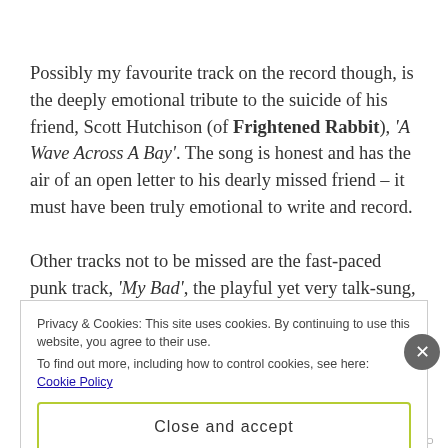Possibly my favourite track on the record though, is the deeply emotional tribute to the suicide of his friend, Scott Hutchison (of Frightened Rabbit), 'A Wave Across A Bay'. The song is honest and has the air of an open letter to his dearly missed friend – it must have been truly emotional to write and record.

Other tracks not to be missed are the fast-paced punk track, 'My Bad', the playful yet very talk-sung,
Privacy & Cookies: This site uses cookies. By continuing to use this website, you agree to their use.
To find out more, including how to control cookies, see here: Cookie Policy
Close and accept